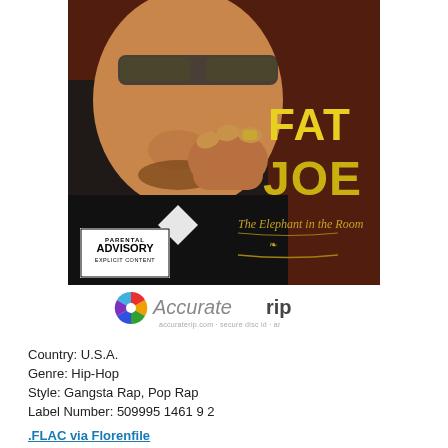[Figure (photo): Album cover for Fat Joe - The Elephant in the Room. Shows Fat Joe wearing sunglasses, pointing at camera. Yellow text reads FAT JOE and 'The Elephant in the Room' in gothic script. Parental Advisory Explicit Content label visible in lower left.]
[Figure (logo): AccurateRip logo - colorful circular icon with text 'Accurate' in grey italic and 'rip' in bold, with small subtitle text below.]
Country: U.S.A.
Genre: Hip-Hop
Style: Gangsta Rap, Pop Rap
Label Number: 509995 1461 9 2
.FLAC via Florenfile